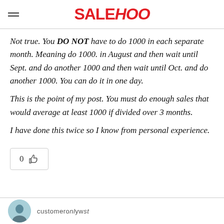SALEHOO
Not true. You DO NOT have to do 1000 in each separate month. Meaning do 1000. in August and then wait until Sept. and do another 1000 and then wait until Oct. and do another 1000. You can do it in one day.
This is the point of my post. You must do enough sales that would average at least 1000 if divided over 3 months.
I have done this twice so I know from personal experience.
[Figure (other): Like button with count 0 and thumbs up icon]
[Figure (other): User avatar (partial, circular profile photo) with partially visible username text]